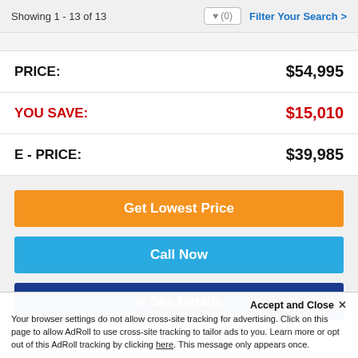Showing 1 - 13 of 13   ♥ (0)   Filter Your Search >
PRICE: $54,995
YOU SAVE: $15,010
E - PRICE: $39,985
Get Lowest Price
Call Now
≡ See Details
Accept and Close ✕
Your browser settings do not allow cross-site tracking for advertising. Click on this page to allow AdRoll to use cross-site tracking to tailor ads to you. Learn more or opt out of this AdRoll tracking by clicking here. This message only appears once.